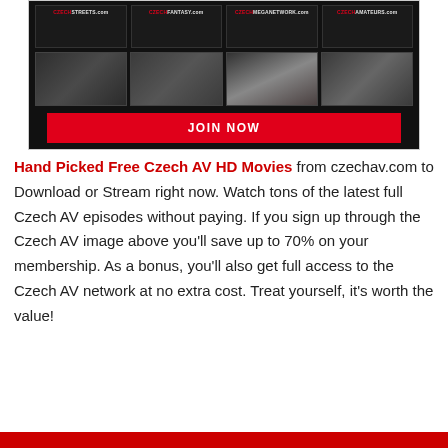[Figure (screenshot): Screenshot of Czech AV website network showing four site logos (czechstreets.com, czechfantasy.com, czechmeganetwork.com, czechamateurs.com), video thumbnails, and a red JOIN NOW button on dark background]
Hand Picked Free Czech AV HD Movies from czechav.com to Download or Stream right now. Watch tons of the latest full Czech AV episodes without paying. If you sign up through the Czech AV image above you'll save up to 70% on your membership. As a bonus, you'll also get full access to the Czech AV network at no extra cost. Treat yourself, it's worth the value!